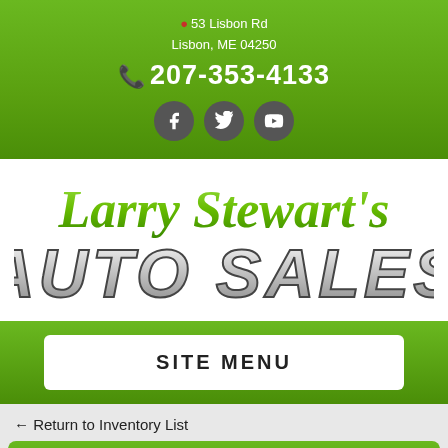53 Lisbon Rd Lisbon, ME 04250 207-353-4133
[Figure (logo): Larry Stewart's AUTO SALES logo with green script and silver bold lettering]
SITE MENU
← Return to Inventory List
2020 Chevrolet Silverado 1500 4WD